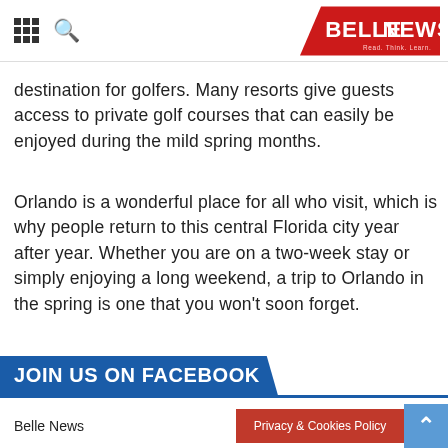BELLE NEWS — Read. Think. Learn.
destination for golfers. Many resorts give guests access to private golf courses that can easily be enjoyed during the mild spring months.
Orlando is a wonderful place for all who visit, which is why people return to this central Florida city year after year. Whether you are on a two-week stay or simply enjoying a long weekend, a trip to Orlando in the spring is one that you won't soon forget.
JOIN US ON FACEBOOK
Belle News | Privacy & Cookies Policy